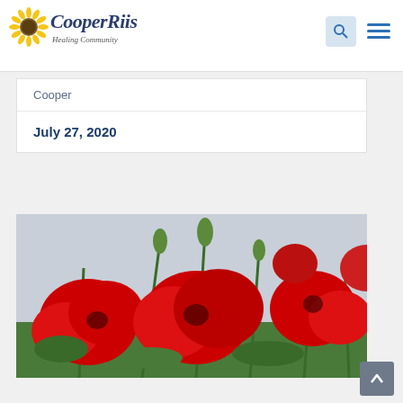CooperRiis Healing Community
Cooper
July 27, 2020
[Figure (photo): Close-up photograph of red poppy flowers with green stems and buds against an overcast sky, taken from a low angle looking up]